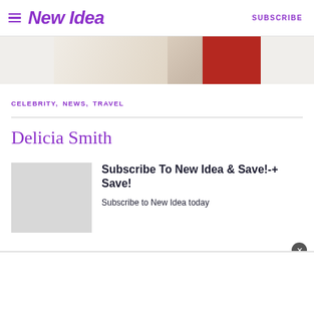New Idea | SUBSCRIBE
[Figure (photo): Hero banner image showing fashion/lifestyle items including bags and accessories on a beige background with a red element on the right]
CELEBRITY, NEWS, TRAVEL
Delicia Smith
[Figure (photo): Grey placeholder thumbnail image for article card]
Subscribe To New Idea & Save!-+ Save!
Subscribe to New Idea today